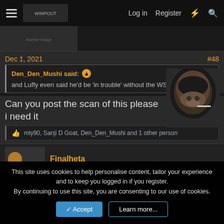Log in  Register
[Figure (screenshot): Forum site logo and banner image with navigation icons]
Dec 1, 2021    #48
Den_Den_Mushi said: and Luffy even said he'd be 'in trouble' without the WSS on his crew.
Can you post the scan of this please i need it
[Figure (photo): Smiling man with cigarette in mouth, wearing black beanie hat]
mly90, Sanji D Goat, Den_Den_Mushi and 1 other person
Finalheta
This site uses cookies to help personalise content, tailor your experience and to keep you logged in if you register.
By continuing to use this site, you are consenting to our use of cookies.